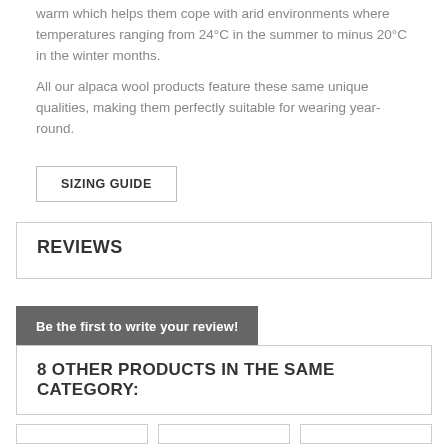warm which helps them cope with arid environments where temperatures ranging from 24°C in the summer to minus 20°C in the winter months.
All our alpaca wool products feature these same unique qualities, making them perfectly suitable for wearing year-round.
SIZING GUIDE
REVIEWS
Be the first to write your review!
8 OTHER PRODUCTS IN THE SAME CATEGORY: